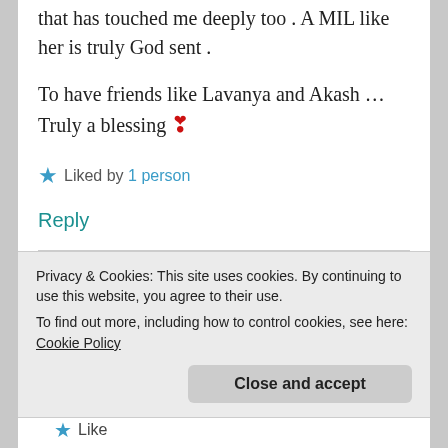…that has touched me deeply too . A MIL like her is truly God sent .
To have friends like Lavanya and Akash … Truly a blessing ❣
Liked by 1 person
Reply
Privacy & Cookies: This site uses cookies. By continuing to use this website, you agree to their use. To find out more, including how to control cookies, see here: Cookie Policy
Close and accept
Like